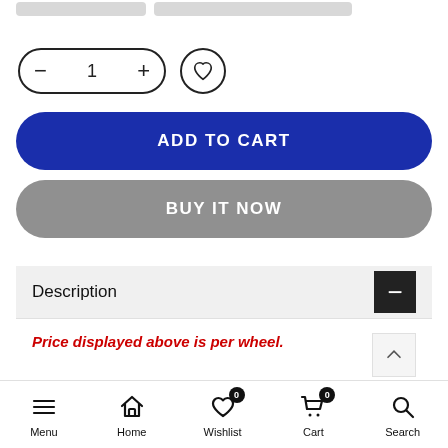[Figure (screenshot): E-commerce product page UI showing quantity selector, wishlist button, Add to Cart (blue pill button), Buy It Now (gray pill button), Description accordion section with price note, and bottom navigation bar with Menu, Home, Wishlist, Cart, Search icons.]
1
ADD TO CART
BUY IT NOW
Description
Price displayed above is per wheel.
Menu  Home  Wishlist  Cart  Search